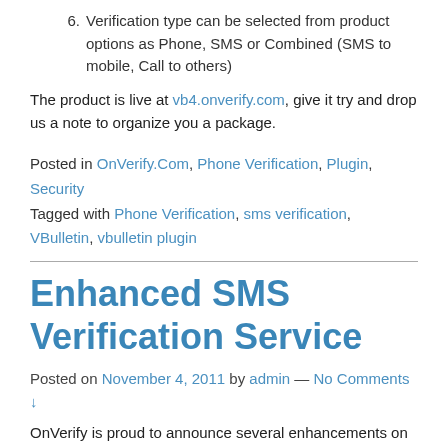6. Verification type can be selected from product options as Phone, SMS or Combined (SMS to mobile, Call to others)
The product is live at vb4.onverify.com, give it try and drop us a note to organize you a package.
Posted in OnVerify.Com, Phone Verification, Plugin, Security Tagged with Phone Verification, sms verification, VBulletin, vbulletin plugin
Enhanced SMS Verification Service
Posted on November 4, 2011 by admin — No Comments ↓
OnVerify is proud to announce several enhancements on sms verification, which is a primarily used to verify mobile phone numbers and users: